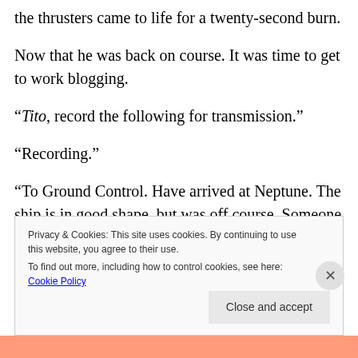the thrusters came to life for a twenty-second burn.
Now that he was back on course. It was time to get to work blogging.
“Tito, record the following for transmission.”
“Recording.”
“To Ground Control. Have arrived at Neptune. The ship is in good shape, but was off course. Someone
Privacy & Cookies: This site uses cookies. By continuing to use this website, you agree to their use.
To find out more, including how to control cookies, see here: Cookie Policy
Close and accept